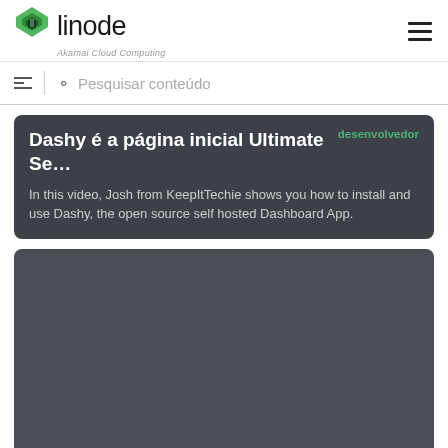Linode — Akamai Cloud Computing
Pesquisar conteúdo
desenvolvedor
Dashy é a página inicial Ultimate Se…
In this video, Josh from KeepItTechie shows you how to install and use Dashy, the open source self hosted Dashboard App.
[Figure (screenshot): Dark gray rectangular content block below the article card]